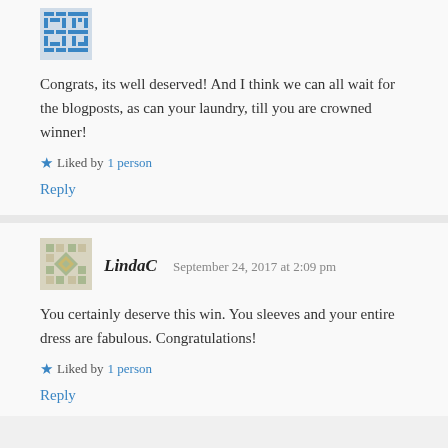[Figure (illustration): Blue decorative avatar icon with geometric pattern]
Congrats, its well deserved! And I think we can all wait for the blogposts, as can your laundry, till you are crowned winner!
Liked by 1 person
Reply
[Figure (illustration): Green/tan decorative avatar icon with geometric pattern]
LindaC  September 24, 2017 at 2:09 pm
You certainly deserve this win. You sleeves and your entire dress are fabulous. Congratulations!
Liked by 1 person
Reply